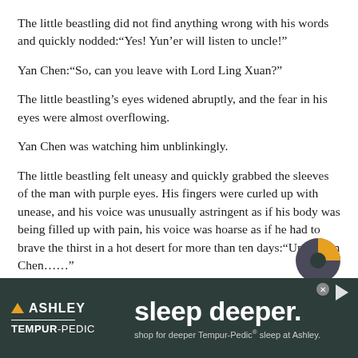The little beastling did not find anything wrong with his words and quickly nodded:“Yes! Yun’er will listen to uncle!”
Yan Chen:“So, can you leave with Lord Ling Xuan?”
The little beastling’s eyes widened abruptly, and the fear in his eyes were almost overflowing.
Yan Chen was watching him unblinkingly.
The little beastling felt uneasy and quickly grabbed the sleeves of the man with purple eyes. His fingers were curled up with unease, and his voice was unusually astringent as if his body was being filled up with pain, his voice was hoarse as if he had to brave the thirst in a hot desert for more than ten days:“Uncle Yan Chen……”
[Figure (infographic): Ashley Tempur-Pedic advertisement banner with dark teal background. Left side shows Ashley logo with triangle icon and Tempur-Pedic branding. Right side shows large white text 'sleep deeper.' with smaller text 'shop for deeper Tempur-Pedic® sleep at Ashley.']